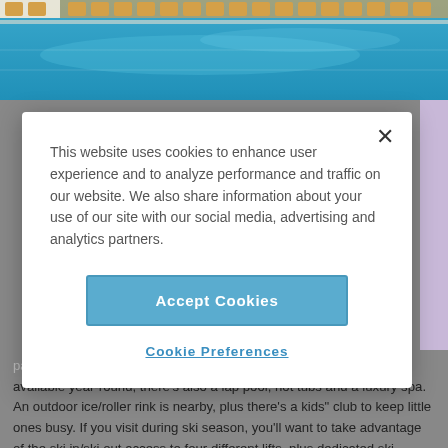[Figure (photo): Aerial view of a resort pool with lounge chairs and blue water]
This website uses cookies to enhance user experience and to analyze performance and traffic on our website. We also share information about your use of our site with our social media, advertising and analytics partners.
Accept Cookies
Cookie Preferences
pack your swimsuits — not only is a large, heated pool available year-round, there's also a lap pool, hot tubs and a luxury spa. An outdoor ice/roller rink is nearby, plus there's a kids" club to keep little ones busy. If you visit during ski season, you'll want to take advantage of the ski in/ski out access to four different lifts, plus dedicated ski concierges. Deluxe guest rooms and top-notch amenities are a bonus.